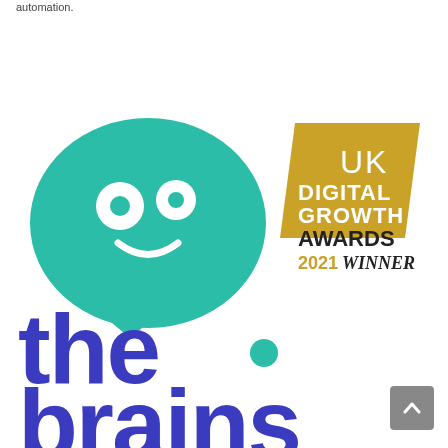automation.
[Figure (logo): The Brains digital marketing agency logo: teal speech bubble with smiley face above bold purple 'the brains' wordmark, alongside UK Digital Growth Awards 2021 Winner badge]
[Figure (logo): Scroll-to-top button in grey]